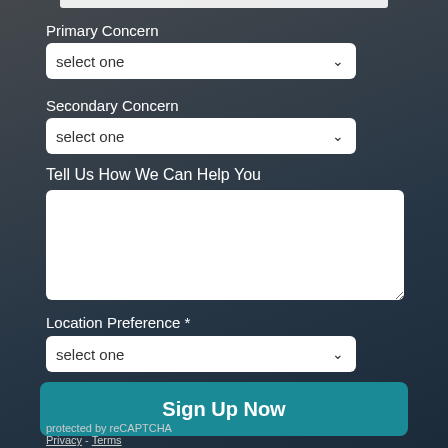Primary Concern
select one
Secondary Concern
select one
Tell Us How We Can Help You
Location Preference *
select one
Sign Up Now
protected by reCAPTCHA
Privacy - Terms